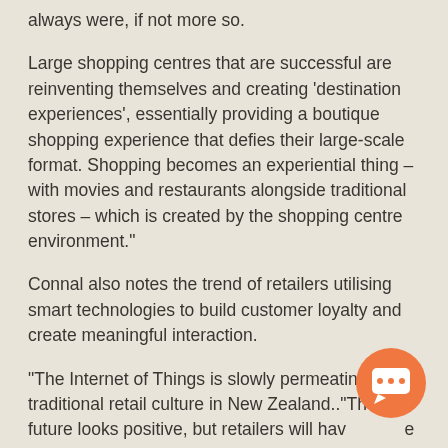always were, if not more so.
Large shopping centres that are successful are reinventing themselves and creating ‘destination experiences’, essentially providing a boutique shopping experience that defies their large-scale format. Shopping becomes an experiential thing – with movies and restaurants alongside traditional stores – which is created by the shopping centre environment.”
Connal also notes the trend of retailers utilising smart technologies to build customer loyalty and create meaningful interaction.
“The Internet of Things is slowly permeating traditional retail culture in New Zealand..“The future looks positive, but retailers will have to be fleet of foot to deal with the changes that are going to keep coming.”
[Figure (illustration): Orange circular chat/messaging icon with speech bubble and ellipsis, positioned bottom right]